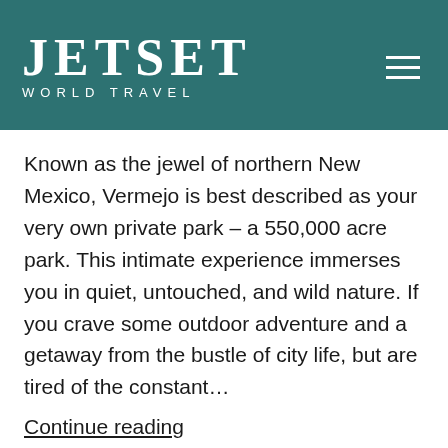JETSET WORLD TRAVEL
Known as the jewel of northern New Mexico, Vermejo is best described as your very own private park – a 550,000 acre park. This intimate experience immerses you in quiet, untouched, and wild nature. If you crave some outdoor adventure and a getaway from the bustle of city life, but are tired of the constant…
Continue reading
Published May 3